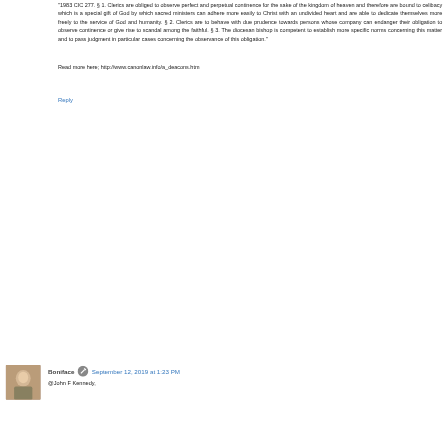"1983 CIC 277. § 1. Clerics are obliged to observe perfect and perpetual continence for the sake of the kingdom of heaven and therefore are bound to celibacy which is a special gift of God by which sacred ministers can adhere more easily to Christ with an undivided heart and are able to dedicate themselves more freely to the service of God and humanity. § 2. Clerics are to behave with due prudence towards persons whose company can endanger their obligation to observe continence or give rise to scandal among the faithful. § 3. The diocesan bishop is competent to establish more specific norms concerning this matter and to pass judgment in particular cases concerning the observance of this obligation."
Read more here; http://www.canonlaw.info/a_deacons.htm
Reply
[Figure (photo): Small avatar thumbnail showing a person, brownish tones]
Boniface  September 12, 2019 at 1:23 PM
@John F Kennedy,